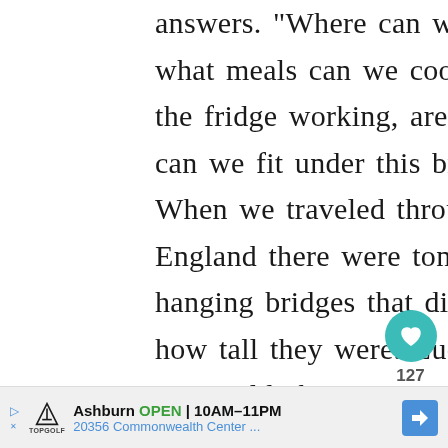answers. "Where can we get diesel, what meals can we cook, why isn't the fridge working, are we level, can we fit under this bridge?" When we traveled through New England there were tons of low hanging bridges that didn't say how tall they were. Luckily we were told about an app called Campendium that warns you about things like this on your route. More on apps in #5!
[Figure (infographic): Heart/like button (teal circle with heart icon), like count 127, and share button]
[Figure (infographic): What's Next panel with thumbnail image and text: 8 Of the Best Things I Did...]
[Figure (illustration): Handwritten-style 'Top' signature/logo]
[Figure (infographic): Advertisement bar: Topgolf Ashburn OPEN 10AM-11PM, 20356 Commonwealth Center...]